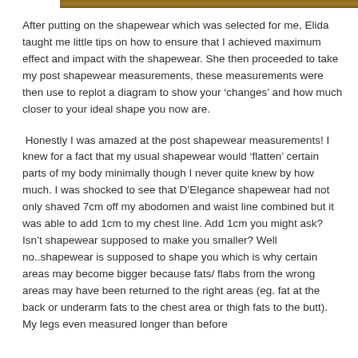[Figure (photo): Partial image strip visible at the top of the page, showing a cropped photo.]
After putting on the shapewear which was selected for me, Elida taught me little tips on how to ensure that I achieved maximum effect and impact with the shapewear. She then proceeded to take my post shapewear measurements, these measurements were then use to replot a diagram to show your ‘changes’ and how much closer to your ideal shape you now are.
Honestly I was amazed at the post shapewear measurements! I knew for a fact that my usual shapewear would ‘flatten’ certain parts of my body minimally though I never quite knew by how much. I was shocked to see that D’Elegance shapewear had not only shaved 7cm off my abodomen and waist line combined but it was able to add 1cm to my chest line. Add 1cm you might ask? Isn’t shapewear supposed to make you smaller? Well no..shapewear is supposed to shape you which is why certain areas may become bigger because fats/ flabs from the wrong areas may have been returned to the right areas (eg. fat at the back or underarm fats to the chest area or thigh fats to the butt). My legs even measured longer than before